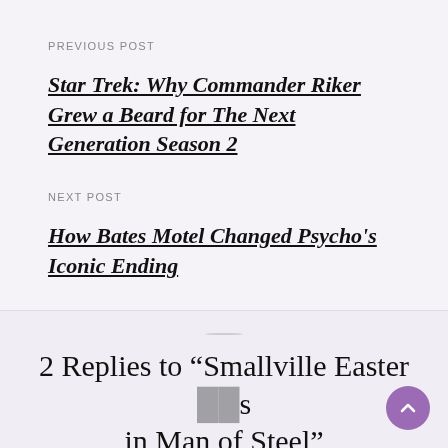PREVIOUS POST
Star Trek: Why Commander Riker Grew a Beard for The Next Generation Season 2
NEXT POST
How Bates Motel Changed Psycho's Iconic Ending
2 Replies to “Smallville Easter [egg]s in Man of Steel”